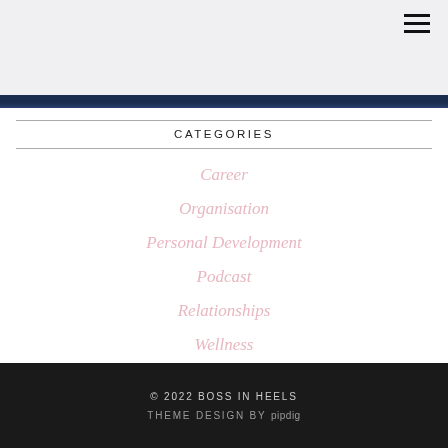[Figure (screenshot): Light gray header area with hamburger menu icon (three horizontal lines) in the top right corner, and a dark navy blue bar below it.]
CATEGORIES
Career
Organisation
Personal Development
Podcast
Relationships
Wellness
© 2022 BOSS IN HEELS
THEME DESIGN BY pipdig